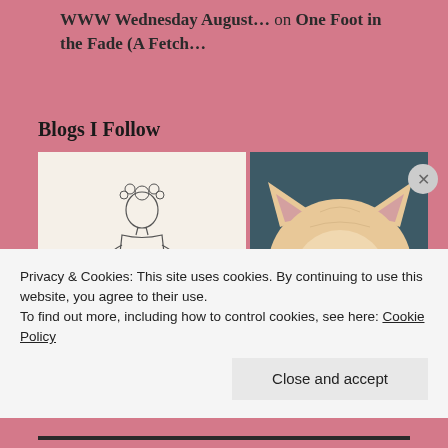WWW Wednesday August… on One Foot in the Fade (A Fetch…
Blogs I Follow
[Figure (illustration): Line drawing of a person with flowers in their hair writing in a book, with 'ANGETHOLOGY' text below, on a cream background]
[Figure (photo): Close-up photo of a fluffy cream/orange cat with green eyes against a dark teal background]
Privacy & Cookies: This site uses cookies. By continuing to use this website, you agree to their use.
To find out more, including how to control cookies, see here: Cookie Policy
Close and accept